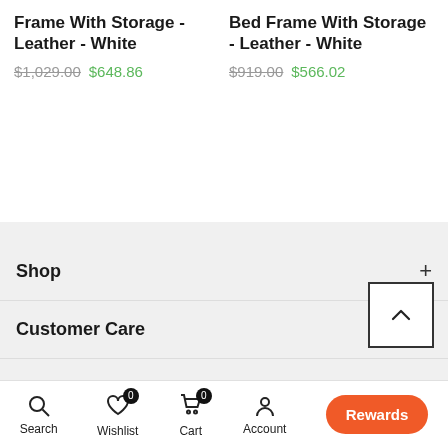Frame With Storage - Leather - White $1,029.00 $648.86
Bed Frame With Storage - Leather - White $919.00 $566.02
Shop
Customer Care
About
Search | Wishlist 0 | Cart 0 | Account | Shop | Rewards